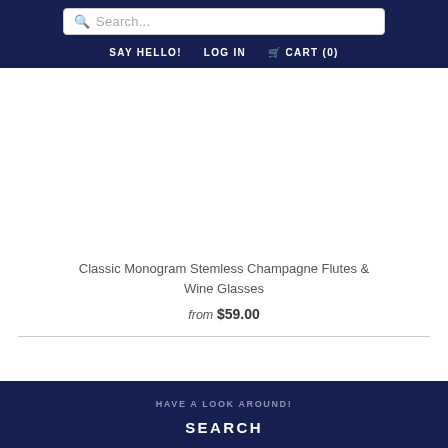Search... | SAY HELLO! | LOG IN | CART (0)
[Figure (photo): Product image area for Classic Monogram Stemless Champagne Flutes & Wine Glasses (blank/white)]
Classic Monogram Stemless Champagne Flutes & Wine Glasses
from $59.00
HAVE A LOOK AROUND! SEARCH